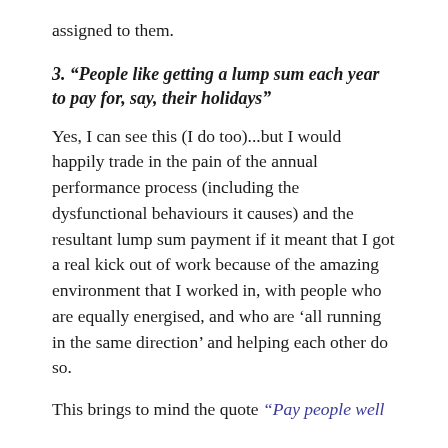assigned to them.
3. “People like getting a lump sum each year to pay for, say, their holidays”
Yes, I can see this (I do too)...but I would happily trade in the pain of the annual performance process (including the dysfunctional behaviours it causes) and the resultant lump sum payment if it meant that I got a real kick out of work because of the amazing environment that I worked in, with people who are equally energised, and who are ‘all running in the same direction’ and helping each other do so.
This brings to mind the quote “Pay people well